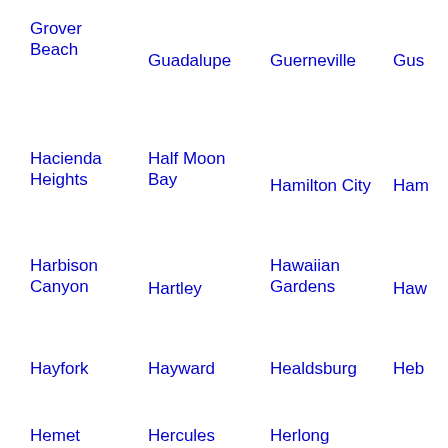Grover Beach
Guadalupe
Guerneville
Gus…
Hacienda Heights
Half Moon Bay
Hamilton City
Ham…
Harbison Canyon
Hartley
Hawaiian Gardens
Haw…
Hayfork
Hayward
Healdsburg
Heb…
Hemet
Hercules
Herlong
Her Beach
Hidden
Hid…